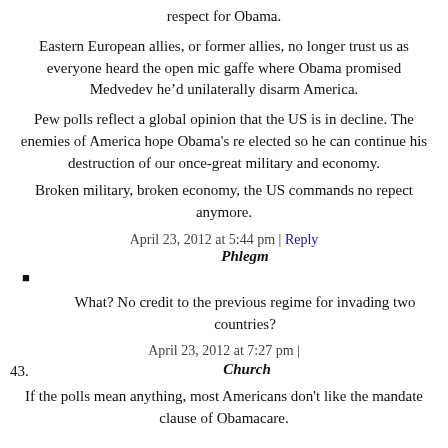respect for Obama.
Eastern European allies, or former allies, no longer trust us as everyone heard the open mic gaffe where Obama promised Medvedev he’d unilaterally disarm America.
Pew polls reflect a global opinion that the US is in decline. The enemies of America hope Obama's re elected so he can continue his destruction of our once-great military and economy.
Broken military, broken economy, the US commands no repect anymore.
April 23, 2012 at 5:44 pm | Reply
Phlegm
What? No credit to the previous regime for invading two countries?
April 23, 2012 at 7:27 pm |
43. Church
If the polls mean anything, most Americans don't like the mandate clause of Obamacare.